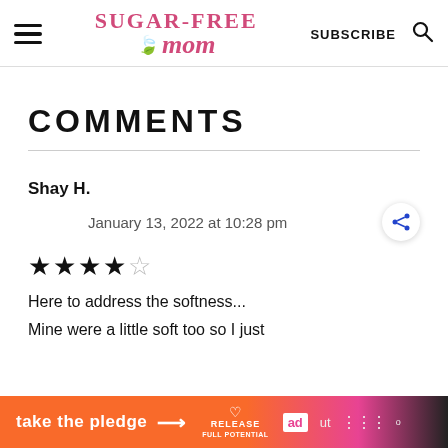Sugar-Free Mom | SUBSCRIBE
COMMENTS
Shay H.
January 13, 2022 at 10:28 pm
★★★★☆
Here to address the softness...
Mine were a little soft too so I just
take the pledge →